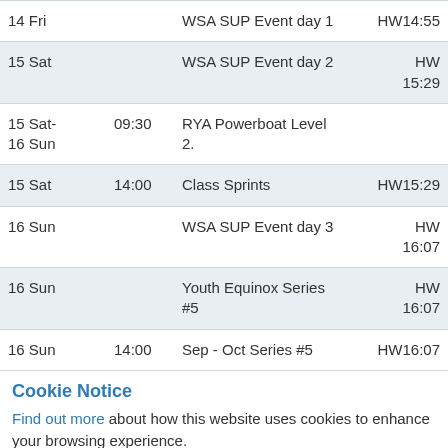| Date | Time | Event | HW |
| --- | --- | --- | --- |
| 14 Fri |  | WSA SUP Event day 1 | HW14:55 |
| 15 Sat |  | WSA SUP Event day 2 | HW 15:29 |
| 15 Sat-
16 Sun | 09:30 | RYA Powerboat Level 2. |  |
| 15 Sat | 14:00 | Class Sprints | HW15:29 |
| 16 Sun |  | WSA SUP Event day 3 | HW 16:07 |
| 16 Sun |  | Youth Equinox Series #5 | HW 16:07 |
| 16 Sun | 14:00 | Sep - Oct Series #5 | HW16:07 |
Cookie Notice
Find out more about how this website uses cookies to enhance your browsing experience.
Accept Cookies